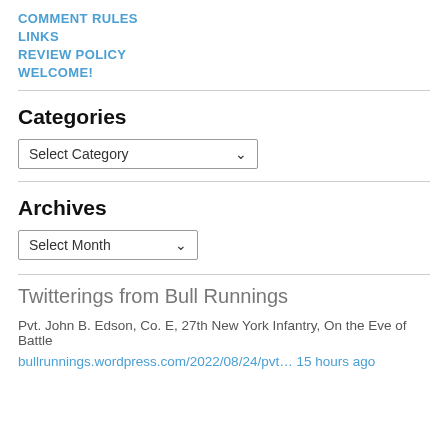COMMENT RULES
LINKS
REVIEW POLICY
WELCOME!
Categories
Select Category
Archives
Select Month
Twitterings from Bull Runnings
Pvt. John B. Edson, Co. E, 27th New York Infantry, On the Eve of Battle
bullrunnings.wordpress.com/2022/08/24/pvt… 15 hours ago